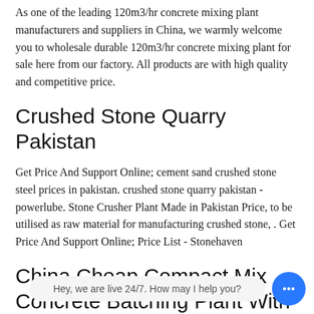As one of the leading 120m3/hr concrete mixing plant manufacturers and suppliers in China, we warmly welcome you to wholesale durable 120m3/hr concrete mixing plant for sale here from our factory. All products are with high quality and competitive price.
Crushed Stone Quarry Pakistan
Get Price And Support Online; cement sand crushed stone steel prices in pakistan. crushed stone quarry pakistan - powerlube. Stone Crusher Plant Made in Pakistan Price, to be utilised as raw material for manufacturing crushed stone, . Get Price And Support Online; Price List - Stonehaven
China Cheap Compact Mix Concrete Batching Plant With Great Price
Concrete Batching Plant Price, Concrete Batching Plant. A wide variety of concrete batching plant price options are available to you, Th nt price suppliers, ma g countries or regions are , Vietnam, and India, which supply and